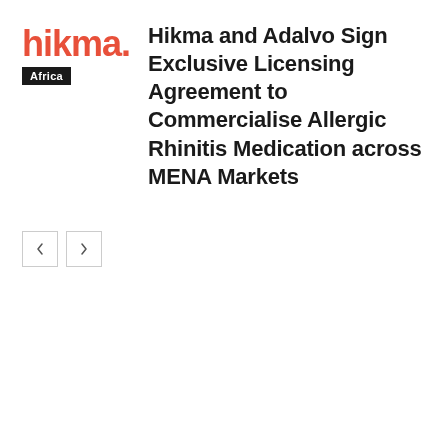[Figure (logo): Hikma Africa logo — 'hikma.' in coral/red with 'Africa' in a black badge below]
Hikma and Adalvo Sign Exclusive Licensing Agreement to Commercialise Allergic Rhinitis Medication across MENA Markets